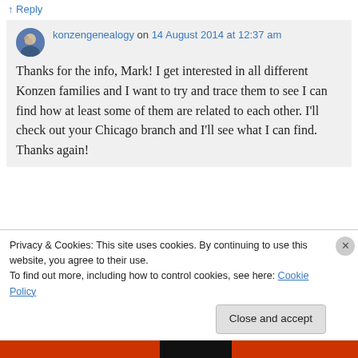↑ Reply
konzengenealogy on 14 August 2014 at 12:37 am
Thanks for the info, Mark! I get interested in all different Konzen families and I want to try and trace them to see I can find how at least some of them are related to each other. I'll check out your Chicago branch and I'll see what I can find. Thanks again!
Privacy & Cookies: This site uses cookies. By continuing to use this website, you agree to their use.
To find out more, including how to control cookies, see here: Cookie Policy
Close and accept